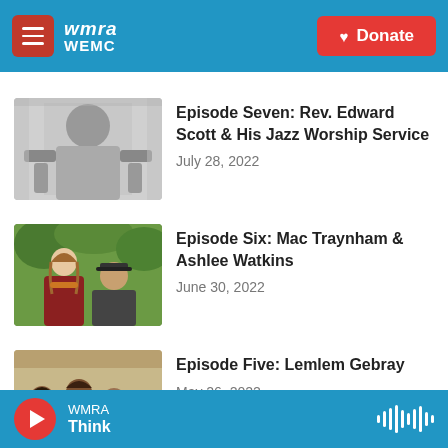WMRA WEMC — Donate
[Figure (screenshot): Thumbnail for Episode Seven: Rev. Edward Scott & His Jazz Worship Service — black and white photo of a person from behind]
Episode Seven: Rev. Edward Scott & His Jazz Worship Service
July 28, 2022
[Figure (screenshot): Thumbnail for Episode Six: Mac Traynham & Ashlee Watkins — color photo of two people outdoors]
Episode Six: Mac Traynham & Ashlee Watkins
June 30, 2022
[Figure (screenshot): Thumbnail for Episode Five: Lemlem Gebray — color photo of a group of people]
Episode Five: Lemlem Gebray
May 26, 2022
WMRA Think